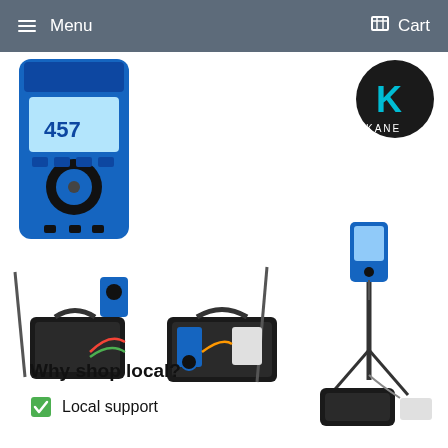Menu   Cart
[Figure (photo): Blue electronic multimeter/analyzer device labeled 457]
[Figure (photo): Kane brand logo on dark circular badge]
[Figure (photo): Test equipment kit with carrying bag, probes, and accessories]
[Figure (photo): Gas analyzer kit with clamp meter, probe, and accessories in bag]
[Figure (photo): Flue gas analyzer on tripod stand with carrying bag and small printer]
Why shop local?
Local support